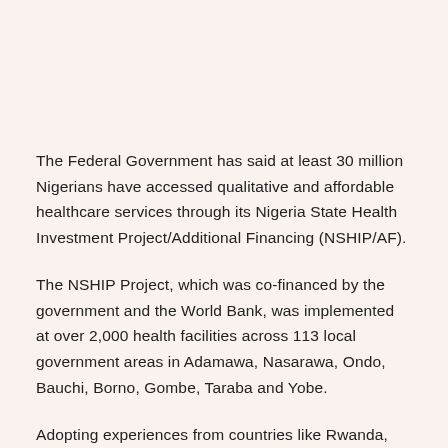The Federal Government has said at least 30 million Nigerians have accessed qualitative and affordable healthcare services through its Nigeria State Health Investment Project/Additional Financing (NSHIP/AF).
The NSHIP Project, which was co-financed by the government and the World Bank, was implemented at over 2,000 health facilities across 113 local government areas in Adamawa, Nasarawa, Ondo, Bauchi, Borno, Gombe, Taraba and Yobe.
Adopting experiences from countries like Rwanda, Haiti, Cambodia, among others, the Federal Government and the